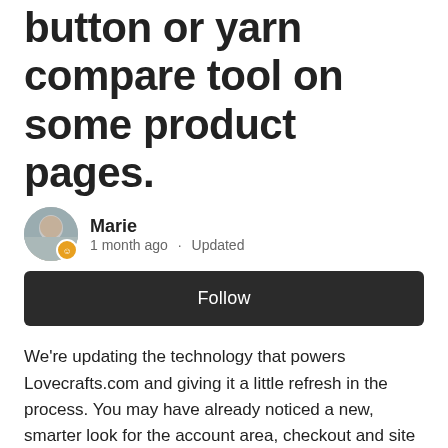button or yarn compare tool on some product pages.
Marie
1 month ago · Updated
Follow
We're updating the technology that powers Lovecrafts.com and giving it a little refresh in the process. You may have already noticed a new, smarter look for the account area, checkout and site navigation in recent months. We're now working on the product and category pages to make it easier to explore and view our products